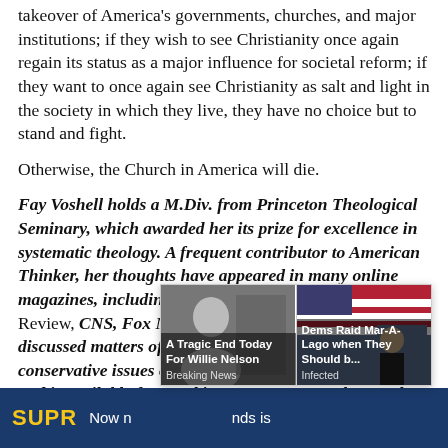takeover of America's governments, churches, and major institutions; if they wish to see Christianity once again regain its status as a major influence for societal reform; if they want to once again see Christianity as salt and light in the society in which they live, they have no choice but to stand and fight.
Otherwise, the Church in America will die.
Fay Voshell holds a M.Div. from Princeton Theological Seminary, which awarded her its prize for excellence in systematic theology. A frequent contributor to American Thinker, her thoughts have appeared in many online magazines, including RealClearReligion, National Review, CNS, Fox News and Russia Insider. She has discussed matters of church and state and other conservative issues on television and radio talk shows, and is available for speaking engagements. She may be reached
[Figure (screenshot): Ad overlay with two news items: 'A Tragic End Today For Willie Nelson - Breaking News' and 'Dems Raid Mar-A-Lago when They Should b... - Infected', with a close button (×)]
SUPR... Now n... nds is